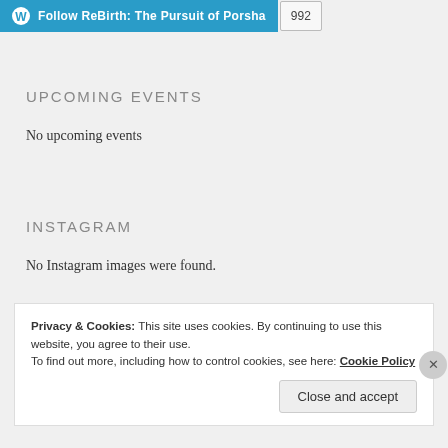Follow ReBirth: The Pursuit of Porsha | 992
UPCOMING EVENTS
No upcoming events
INSTAGRAM
No Instagram images were found.
Privacy & Cookies: This site uses cookies. By continuing to use this website, you agree to their use.
To find out more, including how to control cookies, see here: Cookie Policy
Close and accept